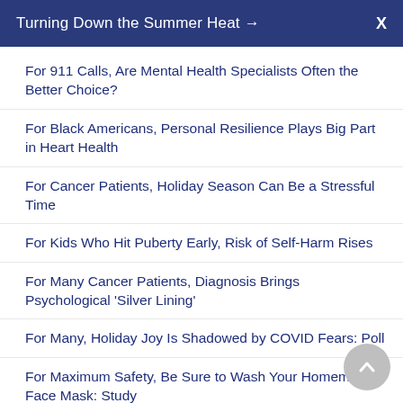Turning Down the Summer Heat →  X
For 911 Calls, Are Mental Health Specialists Often the Better Choice?
For Black Americans, Personal Resilience Plays Big Part in Heart Health
For Cancer Patients, Holiday Season Can Be a Stressful Time
For Kids Who Hit Puberty Early, Risk of Self-Harm Rises
For Many Cancer Patients, Diagnosis Brings Psychological 'Silver Lining'
For Many, Holiday Joy Is Shadowed by COVID Fears: Poll
For Maximum Safety, Be Sure to Wash Your Homemade Face Mask: Study
For Some Young Drivers, Smartphone Use Is One of Many Bad Habits
For Stressed-Out Black Americans, Mental Health C…